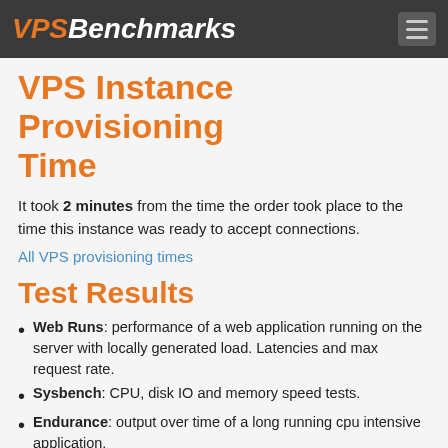VPSBenchmarks
VPS Instance Provisioning Time
It took 2 minutes from the time the order took place to the time this instance was ready to accept connections.
All VPS provisioning times
Test Results
Web Runs: performance of a web application running on the server with locally generated load. Latencies and max request rate.
Sysbench: CPU, disk IO and memory speed tests.
Endurance: output over time of a long running cpu intensive application.